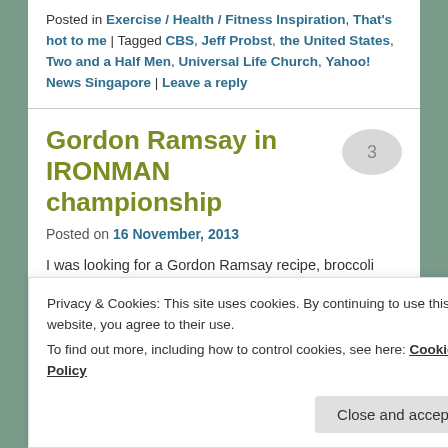Posted in Exercise / Health / Fitness Inspiration, That's hot to me | Tagged CBS, Jeff Probst, the United States, Two and a Half Men, Universal Life Church, Yahoo! News Singapore | Leave a reply
Gordon Ramsay in IRONMAN championship
Posted on 16 November, 2013
I was looking for a Gordon Ramsay recipe, broccoli soup, that I came across ages ago and wanted to make. I like it because it is so delicious and...
Privacy & Cookies: This site uses cookies. By continuing to use this website, you agree to their use. To find out more, including how to control cookies, see here: Cookie Policy